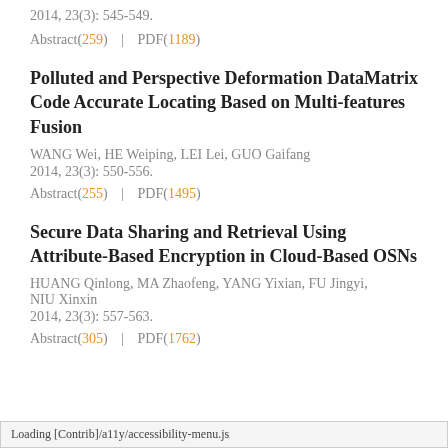2014, 23(3): 545-549.
Abstract(259)  |  PDF(1189)
Polluted and Perspective Deformation DataMatrix Code Accurate Locating Based on Multi-features Fusion
WANG Wei, HE Weiping, LEI Lei, GUO Gaifang
2014, 23(3): 550-556.
Abstract(255)  |  PDF(1495)
Secure Data Sharing and Retrieval Using Attribute-Based Encryption in Cloud-Based OSNs
HUANG Qinlong, MA Zhaofeng, YANG Yixian, FU Jingyi, NIU Xinxin
2014, 23(3): 557-563.
Abstract(305)  |  PDF(1762)
Loading [Contrib]/a11y/accessibility-menu.js